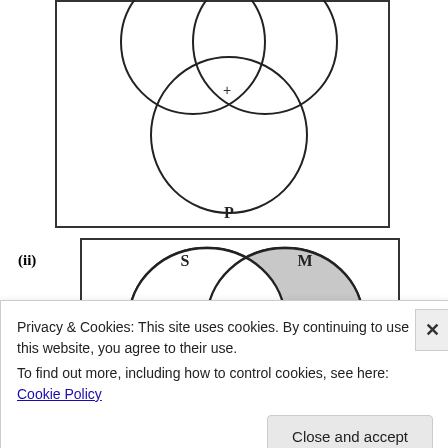[Figure (other): Top Venn diagram: three overlapping circles (two on top partially shown, one large circle below centered labeled P) with a + symbol at the triple intersection point, enclosed in a rectangle border.]
[Figure (other): Bottom Venn diagram (ii): two overlapping circles labeled S (left, white) and M (right, shaded gray) with a + symbol at partial intersection visible, enclosed in a rectangle border.]
Privacy & Cookies: This site uses cookies. By continuing to use this website, you agree to their use.
To find out more, including how to control cookies, see here: Cookie Policy